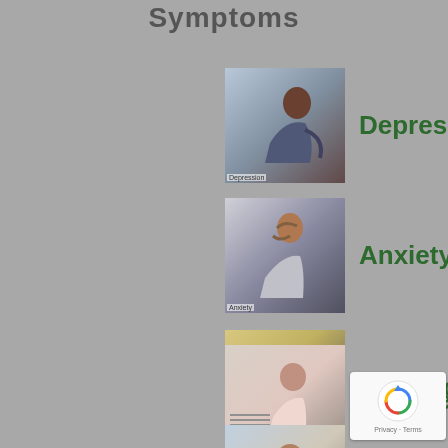Symptoms
[Figure (infographic): Medical symptom infographic showing 6 symptoms with photographs and labels. Symptoms listed are Depression, Anxiety, Chronic Pain, Fatigue, Hunger, and Insomnia. Each symptom has a small photograph on the left and green bold text label on the right.]
[Figure (other): Google reCAPTCHA badge with refresh icon and Privacy - Terms text]